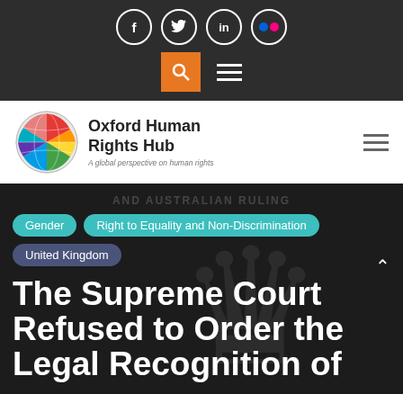Social icons: Facebook, Twitter, LinkedIn, Flickr; Search button; Hamburger menu
[Figure (logo): Oxford Human Rights Hub logo — globe graphic with colourful segments, text: Oxford Human Rights Hub, A global perspective on human rights]
AND AUSTRALIAN RULING
Gender
Right to Equality and Non-Discrimination
United Kingdom
The Supreme Court Refused to Order the Legal Recognition of